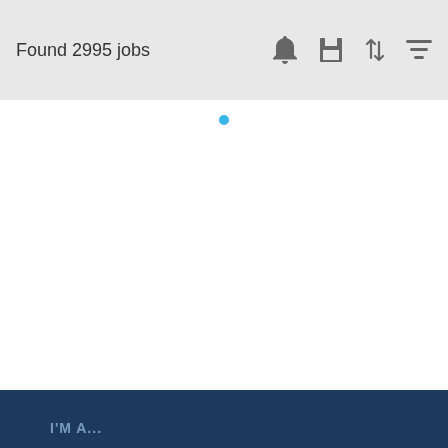Found 2995 jobs
[Figure (other): Loading spinner dot (blue)]
I'M A...
JOB SEEKER
EMPLOYER
EDUCATOR
FRANCHISOR
AD AGENCY
GOVERNMENT AGENCY
Job Seekers    Employers